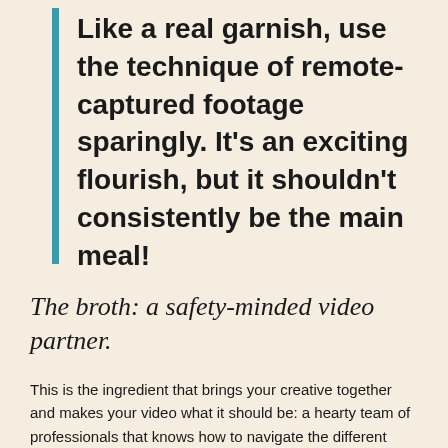Like a real garnish, use the technique of remote-captured footage sparingly. It's an exciting flourish, but it shouldn't consistently be the main meal!
The broth: a safety-minded video partner.
This is the ingredient that brings your creative together and makes your video what it should be: a hearty team of professionals that knows how to navigate the different